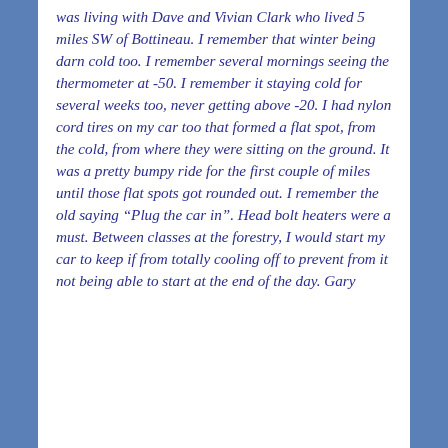was living with Dave and Vivian Clark who lived 5 miles SW of Bottineau. I remember that winter being darn cold too. I remember several mornings seeing the thermometer at -50. I remember it staying cold for several weeks too, never getting above -20. I had nylon cord tires on my car too that formed a flat spot, from the cold, from where they were sitting on the ground. It was a pretty bumpy ride for the first couple of miles until those flat spots got rounded out. I remember the old saying “Plug the car in”. Head bolt heaters were a must. Between classes at the forestry, I would start my car to keep if from totally cooling off to prevent from it not being able to start at the end of the day. Gary